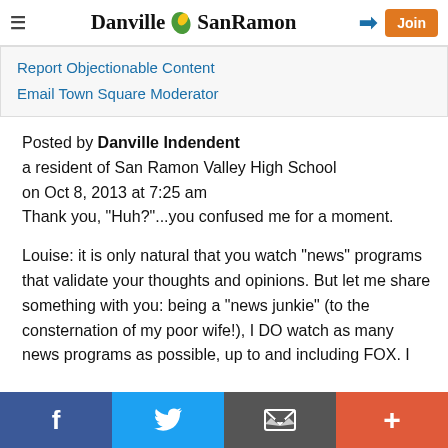Danville SanRamon
Report Objectionable Content
Email Town Square Moderator
Posted by Danville Indendent
a resident of San Ramon Valley High School
on Oct 8, 2013 at 7:25 am
Thank you, "Huh?"...you confused me for a moment.

Louise: it is only natural that you watch "news" programs that validate your thoughts and opinions. But let me share something with you: being a "news junkie" (to the consternation of my poor wife!), I DO watch as many news programs as possible, up to and including FOX. I
f  Twitter  Email  +